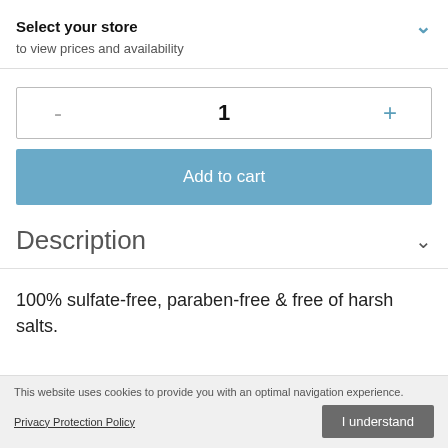Select your store
to view prices and availability
- 1 +
Add to cart
Description
100% sulfate-free, paraben-free & free of harsh salts.
This website uses cookies to provide you with an optimal navigation experience.
Privacy Protection Policy
I understand